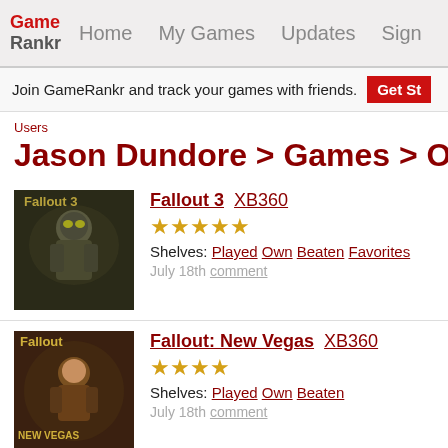GameRankr  Home  My Games  Updates  Sign
Join GameRankr and track your games with friends. Get St...
Users
Jason Dundore > Games > Ow
Fallout 3 XB360 ★★★★★ Shelves: Played Own Beaten Favorites July 18th comment
Fallout: New Vegas XB360 ★★★★ Shelves: Played Own Beaten July 18th comment